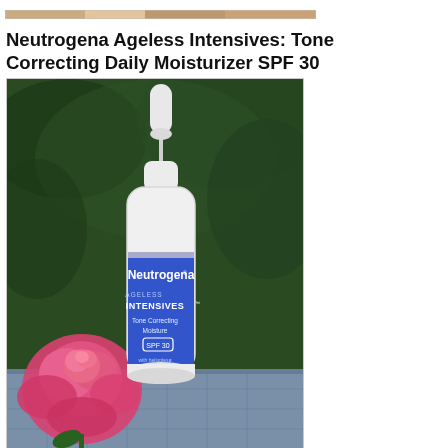[Figure (photo): Partial top strip showing a photo banner at the top of the page]
Neutrogena Ageless Intensives: Tone Correcting Daily Moisturizer SPF 30
[Figure (photo): Photo of a Neutrogena Ageless Intensives Tone Correcting Moisture SPF 30 with Helioplexpump bottle with a pink rose beside it, set against a green garden background]